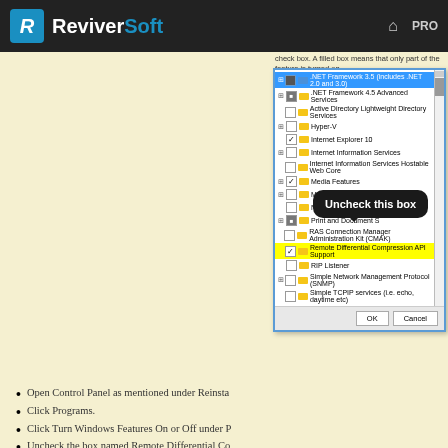ReviverSoft
[Figure (screenshot): Windows Features dialog screenshot showing a list of Windows components with checkboxes. Items include .NET Framework 3.5, .NET Framework 4.5 Advanced Services, Active Directory Lightweight Directory Services, Hyper-V, Internet Explorer 10, Internet Information Services, Internet Information Services Hostable Web Core, Media Features, Microsoft Message Queue, Network Projection, Print and Document Services, RAS Connection Manager Administration Kit (CMAK), Remote Differential Compression API Support (highlighted in yellow with checkmark), RIP Listener, Simple Network Management Protocol (SNMP), Simple TCPIP services. A black callout bubble reads 'Uncheck this box' pointing to the Remote Differential Compression API Support row. OK and Cancel buttons at bottom.]
Open Control Panel as mentioned under Reinsta
Click Programs.
Click Turn Windows Features On or Off under P
Uncheck the box named Remote Differential Co
Click OK. Let the process finish.
Fix 6: Clear DNS
DNS refers to Dynamic Name System. It's a hierarchica